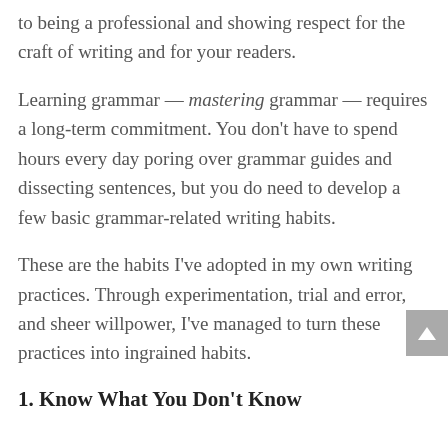to being a professional and showing respect for the craft of writing and for your readers.
Learning grammar — mastering grammar — requires a long-term commitment. You don't have to spend hours every day poring over grammar guides and dissecting sentences, but you do need to develop a few basic grammar-related writing habits.
These are the habits I've adopted in my own writing practices. Through experimentation, trial and error, and sheer willpower, I've managed to turn these practices into ingrained habits.
1. Know What You Don't Know